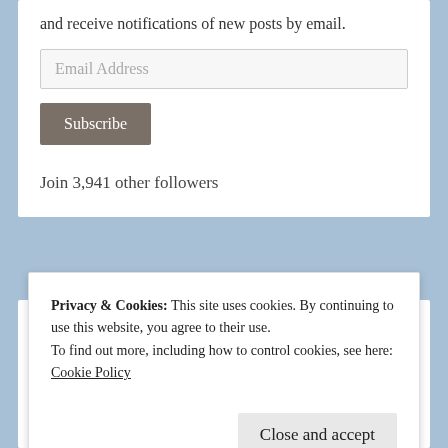and receive notifications of new posts by email.
Email Address
Subscribe
Join 3,941 other followers
Donna Luisa Podcasts
Privacy & Cookies: This site uses cookies. By continuing to use this website, you agree to their use.
To find out more, including how to control cookies, see here:
Cookie Policy
Close and accept
Go Beyond The Day